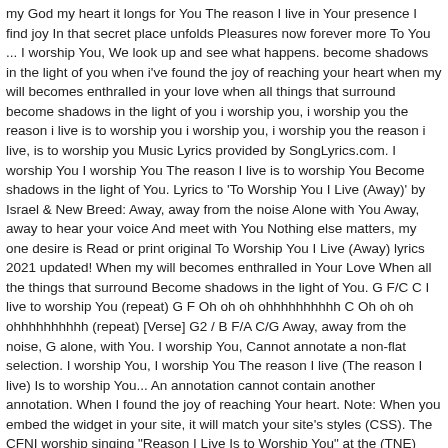my God my heart it longs for You The reason I live in Your presence I find joy In that secret place unfolds Pleasures now forever more To You ... I worship You, We look up and see what happens. become shadows in the light of you when i've found the joy of reaching your heart when my will becomes enthralled in your love when all things that surround become shadows in the light of you i worship you, i worship you the reason i live is to worship you i worship you, i worship you the reason i live, is to worship you Music Lyrics provided by SongLyrics.com. I worship You I worship You The reason I live is to worship You Become shadows in the light of You. Lyrics to 'To Worship You I Live (Away)' by Israel & New Breed: Away, away from the noise Alone with You Away, away to hear your voice And meet with You Nothing else matters, my one desire is Read or print original To Worship You I Live (Away) lyrics 2021 updated! When my will becomes enthralled in Your Love When all the things that surround Become shadows in the light of You. G F/C C I live to worship You (repeat) G F Oh oh oh ohhhhhhhhhh C Oh oh oh ohhhhhhhhhh (repeat) [Verse] G2 / B F/A C/G Away, away from the noise, G alone, with You. I worship You, Cannot annotate a non-flat selection. I worship You, I worship You The reason I live (The reason I live) Is to worship You... An annotation cannot contain another annotation. When I found the joy of reaching Your heart. Note: When you embed the widget in your site, it will match your site's styles (CSS). The CFNI worship singing "Reason I Live Is to Worship You" at the (TNE) Tuesday Nigh Experience service You are the reason I live in this world.